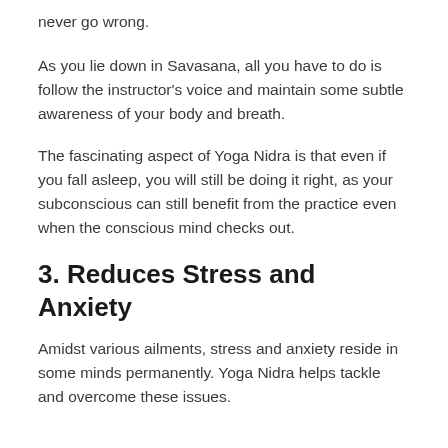never go wrong.
As you lie down in Savasana, all you have to do is follow the instructor's voice and maintain some subtle awareness of your body and breath.
The fascinating aspect of Yoga Nidra is that even if you fall asleep, you will still be doing it right, as your subconscious can still benefit from the practice even when the conscious mind checks out.
3. Reduces Stress and Anxiety
Amidst various ailments, stress and anxiety reside in some minds permanently. Yoga Nidra helps tackle and overcome these issues.